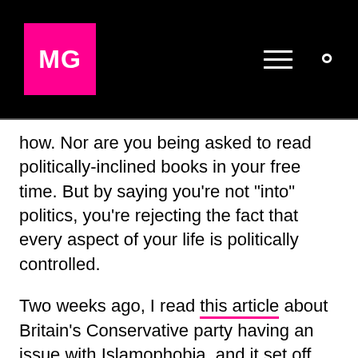MG
how. Nor are you being asked to read politically-inclined books in your free time. But by saying you’re not “into” politics, you’re rejecting the fact that every aspect of your life is politically controlled.
Two weeks ago, I read this article about Britain’s Conservative party having an issue with Islamophobia, and it set off something inside of me. The dog-whistle tones that the Conservative party have been putting out for